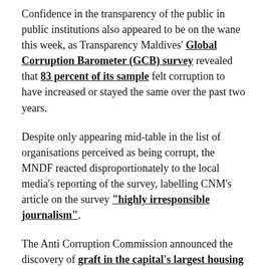Confidence in the transparency of the public in public institutions also appeared to be on the wane this week, as Transparency Maldives' Global Corruption Barometer (GCB) survey revealed that 83 percent of its sample felt corruption to have increased or stayed the same over the past two years.
Despite only appearing mid-table in the list of organisations perceived as being corrupt, the MNDF reacted disproportionately to the local media's reporting of the survey, labelling CNM's article on the survey "highly irresponsible journalism".
The Anti Corruption Commission announced the discovery of graft in the capital's largest housing programme. The highest number of bribes reported in the GCB was in the area of land services.